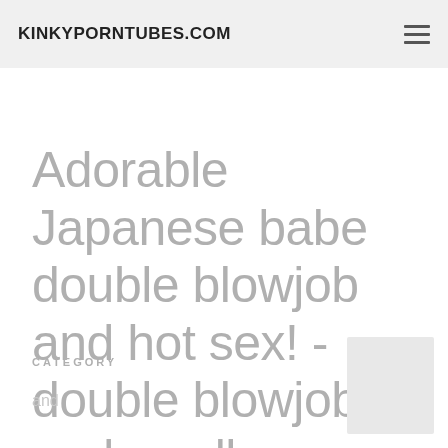KINKYPORNTUBES.COM
Adorable Japanese babe double blowjob and hot sex! - double blowjob and swallow
CATEGORY
and
[Figure (photo): Small grey placeholder thumbnail image in bottom right corner]